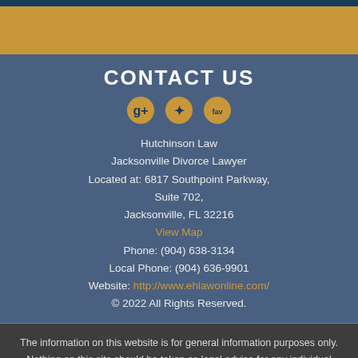CONTACT US
Hutchinson Law
Jacksonville Divorce Lawyer
Located at: 6817 Southpoint Parkway,
Suite 702,
Jacksonville, FL 32216
View Map
Phone: (904) 638-3134
Local Phone: (904) 636-9901
Website: http://www.ehlawonline.com/
© 2022 All Rights Reserved.
The information on this website is for general information purposes only. Nothing on this site should be taken as legal advice for any individual case or situation. This information is not intended to create, and receipt or viewing does not constitute, an attorney-client relationship.